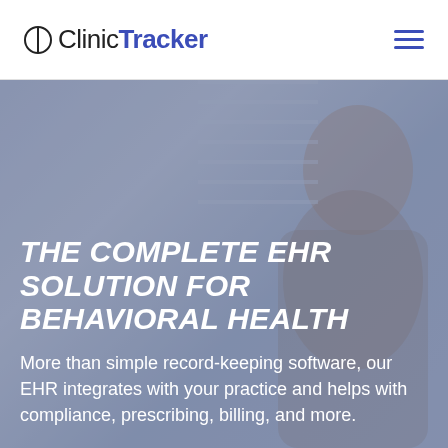ClinicTracker
THE COMPLETE EHR SOLUTION FOR BEHAVIORAL HEALTH
More than simple record-keeping software, our EHR integrates with your practice and helps with compliance, prescribing, billing, and more.